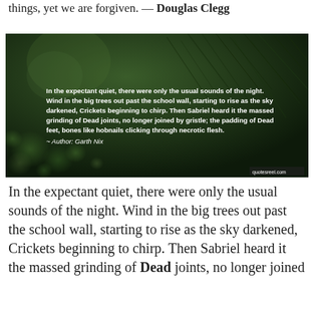things, yet we are forgiven. — Douglas Clegg
[Figure (photo): Dark green nature background with pine needles and bokeh light. Overlaid white text reads: 'In the expectant quiet, there were only the usual sounds of the night. Wind in the big trees out past the school wall, starting to rise as the sky darkened, Crickets beginning to chirp. Then Sabriel heard it the massed grinding of Dead joints, no longer joined by gristle; the padding of Dead feet, bones like hobnails clicking through necrotic flesh. ~ Author: Garth Nix']
In the expectant quiet, there were only the usual sounds of the night. Wind in the big trees out past the school wall, starting to rise as the sky darkened, Crickets beginning to chirp. Then Sabriel heard it the massed grinding of Dead joints, no longer joined